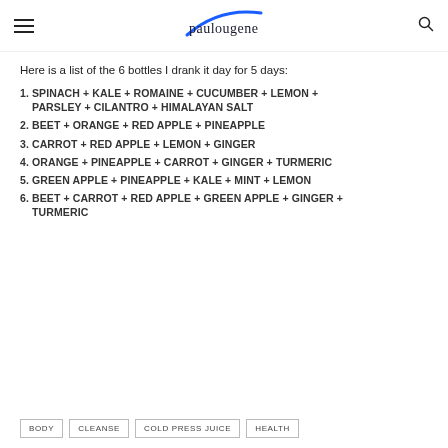paulougene (logo with blue swoosh)
Here is a list of the 6 bottles I drank it day for 5 days:
1. SPINACH + KALE + ROMAINE + CUCUMBER + LEMON + PARSLEY + CILANTRO + HIMALAYAN SALT
2. BEET + ORANGE + RED APPLE + PINEAPPLE
3. CARROT + RED APPLE + LEMON + GINGER
4. ORANGE + PINEAPPLE + CARROT + GINGER + TURMERIC
5. GREEN APPLE + PINEAPPLE + KALE + MINT + LEMON
6. BEET + CARROT + RED APPLE + GREEN APPLE + GINGER + TURMERIC
BODY  CLEANSE  COLD PRESS JUICE  HEALTH